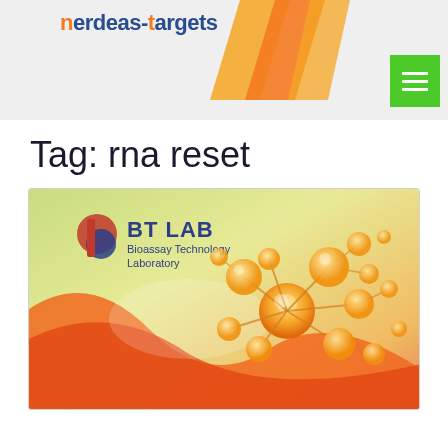nerdeas-targets
Tag: rna reset
[Figure (photo): BT LAB Bioassay Technology Laboratory product box with orange molecular network illustration on green-to-orange gradient background]